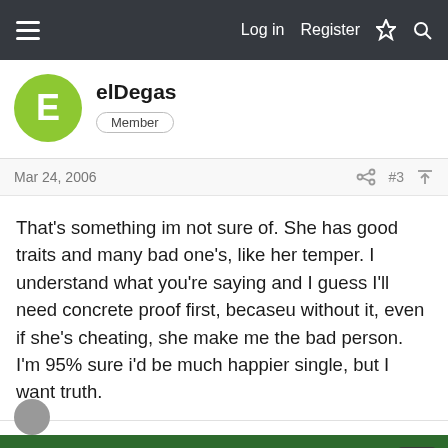Log in  Register
elDegas
Member
Mar 24, 2006   #3
That's something im not sure of. She has good traits and many bad one's, like her temper. I understand what you're saying and I guess I'll need concrete proof first, becaseu without it, even if she's cheating, she make me the bad person. I'm 95% sure i'd be much happier single, but I want truth.
This site uses cookies to help personalise content, tailor your experience and to keep you logged in if you register.
By continuing to use this site, you are consenting to our use of cookies.
✓ Accept
Learn more...